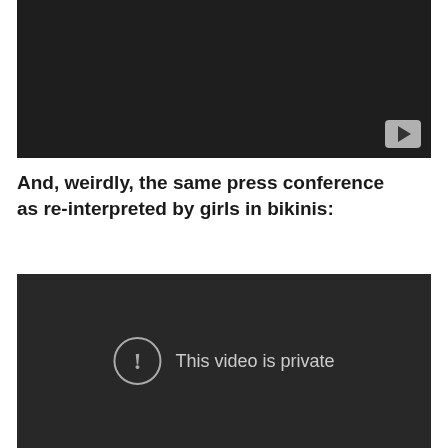[Figure (screenshot): YouTube video player showing 'This video is private' message with a YouTube play button icon in the bottom right corner. The player background is dark/black.]
And, weirdly, the same press conference as re-interpreted by girls in bikinis:
[Figure (screenshot): YouTube video player showing 'This video is private' message with an exclamation mark in a circle icon. The player background is dark/black.]